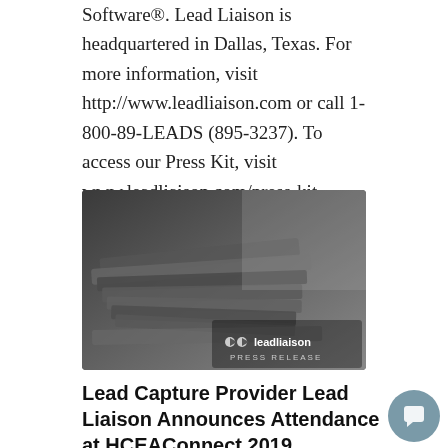Software®. Lead Liaison is headquartered in Dallas, Texas. For more information, visit http://www.leadliaison.com or call 1-800-89-LEADS (895-3237). To access our Press Kit, visit www.leadliaison.com/press-kit.
[Figure (photo): Black and white photo of stacked folded newspapers with Lead Liaison press release logo overlay in bottom right corner]
Lead Capture Provider Lead Liaison Announces Attendance at HCEAConnect 2019